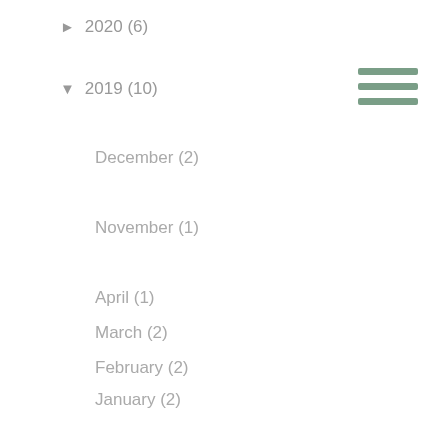► 2020 (6)
▼ 2019 (10)
December (2)
November (1)
April (1)
March (2)
February (2)
January (2)
► 2018 (24)
► 2017 (39)
Search This Blog